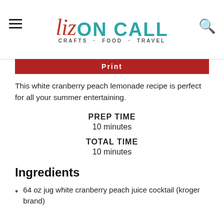Liz ON CALL · CRAFTS · FOOD · TRAVEL
Print
This white cranberry peach lemonade recipe is perfect for all your summer entertaining.
PREP TIME
10 minutes
TOTAL TIME
10 minutes
Ingredients
64 oz jug white cranberry peach juice cocktail (kroger brand)